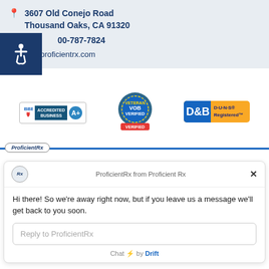3607 Old Conejo Road
Thousand Oaks, CA 91320
00-787-7824
info@proficientrx.com
[Figure (logo): BBB Accredited Business A+ badge]
[Figure (logo): VOB Verified badge seal]
[Figure (logo): D&B D-U-N-S Registered badge]
[Figure (logo): ProficientRx logo oval with blue bar]
ProficientRx from Proficient Rx
Hi there! So we're away right now, but if you leave us a message we'll get back to you soon.
Reply to ProficientRx
Chat ⚡ by Drift